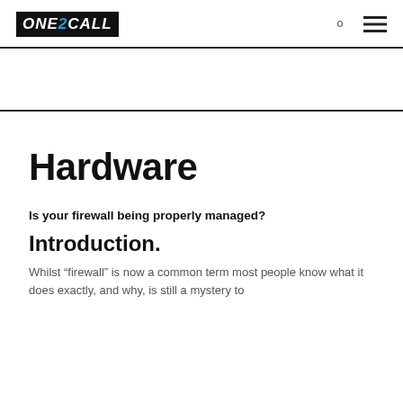ONE2CALL
Hardware
Is your firewall being properly managed?
Introduction.
Whilst “firewall” is now a common term most people know what it does exactly, and why, is still a mystery to